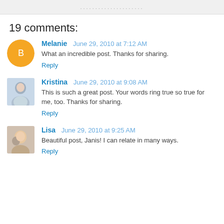19 comments:
Melanie   June 29, 2010 at 7:12 AM
What an incredible post. Thanks for sharing.
Reply
Kristina   June 29, 2010 at 9:08 AM
This is such a great post. Your words ring true so true for me, too. Thanks for sharing.
Reply
Lisa   June 29, 2010 at 9:25 AM
Beautiful post, Janis! I can relate in many ways.
Reply